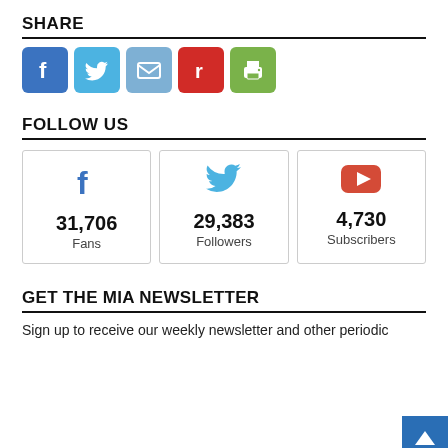SHARE
[Figure (infographic): Social share icons: Facebook (blue), Twitter (light blue), Email (steel blue), Reddit (red with r), Print (green printer icon)]
FOLLOW US
[Figure (infographic): Three social media follow cards: Facebook 31,706 Fans; Twitter 29,383 Followers; YouTube 4,730 Subscribers]
GET THE MIA NEWSLETTER
Sign up to receive our weekly newsletter and other periodic